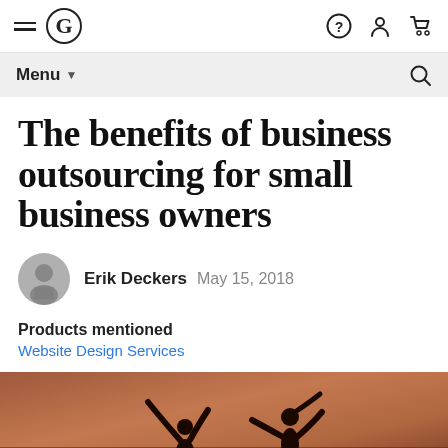Menu navigation bar with logo and icons
The benefits of business outsourcing for small business owners
Erik Deckers  May 15, 2018
Products mentioned
Website Design Services
[Figure (photo): Silhouette of two people with arms raised against a warm sunset/dusk sky background]